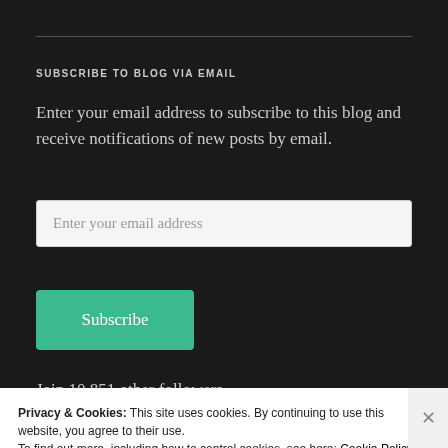SUBSCRIBE TO BLOG VIA EMAIL
Enter your email address to subscribe to this blog and receive notifications of new posts by email.
Enter your email address
Subscribe
Join 10,851 other followers
Privacy & Cookies: This site uses cookies. By continuing to use this website, you agree to their use.
To find out more, including how to control cookies, see here: Cookie Policy
Close and accept